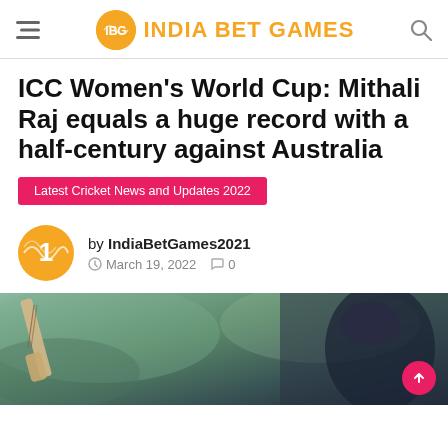IBG INDIA BET GAMES
ICC Women's World Cup: Mithali Raj equals a huge record with a half-century against Australia
Latest Cricket News and Updates 2022
by IndiaBetGames2021 · March 19, 2022 · 0
[Figure (photo): Cricket player batting, wearing helmet, photographed from low angle with blurred green/grey background]